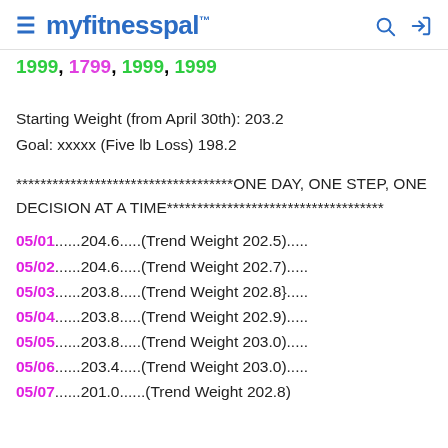myfitnesspal
1999, 1799, 1999, 1999
Starting Weight (from April 30th): 203.2
Goal: xxxxx (Five lb Loss) 198.2
************************************ONE DAY, ONE STEP, ONE DECISION AT A TIME************************************
05/01......204.6.....(Trend Weight 202.5).....
05/02......204.6.....(Trend Weight 202.7).....
05/03......203.8.....(Trend Weight 202.8}.....
05/04......203.8.....(Trend Weight 202.9).....
05/05......203.8.....(Trend Weight 203.0).....
05/06......203.4.....(Trend Weight 203.0).....
05/07......201.0......(Trend Weight 202.8)